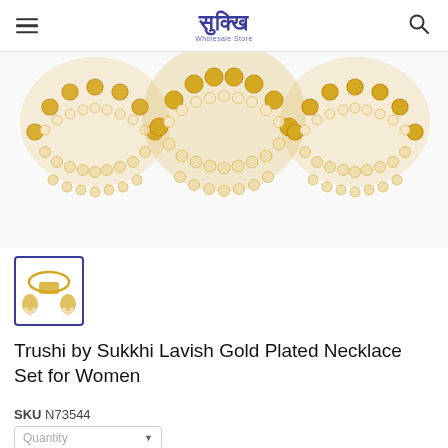Sukkhi Wholesale Store
[Figure (photo): Product photo showing gold plated jewellery set with pearl embellishments - three fan-shaped kundan pieces with pearl hangings on white background]
[Figure (photo): Thumbnail image of the Trushi by Sukkhi Lavish Gold Plated Necklace Set for Women]
Trushi by Sukkhi Lavish Gold Plated Necklace Set for Women
SKU N73544
Quantity